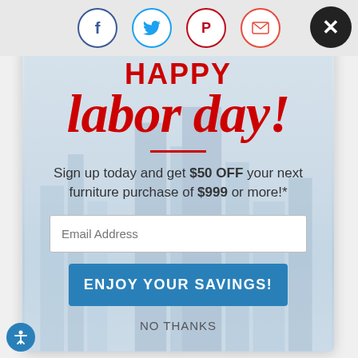[Figure (screenshot): Social share bar with Facebook, Twitter, Pinterest, and email icons, and a close (X) button in top right]
HAPPY labor day!
Sign up today and get $50 OFF your next furniture purchase of $999 or more!*
Email Address
ENJOY YOUR SAVINGS!
NO THANKS